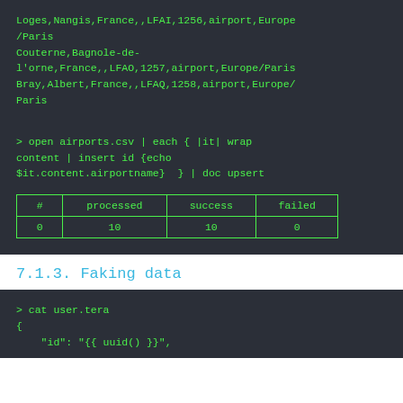Loges,Nangis,France,,LFAI,1256,airport,Europe/Paris
Couterne,Bagnole-de-l'orne,France,,LFAO,1257,airport,Europe/Paris
Bray,Albert,France,,LFAQ,1258,airport,Europe/Paris
> open airports.csv | each { |it| wrap content | insert id {echo $it.content.airportname}  } | doc upsert
| # | processed | success | failed |
| --- | --- | --- | --- |
| 0 | 10 | 10 | 0 |
7.1.3. Faking data
> cat user.tera
{
    "id": "{{ uuid() }}",